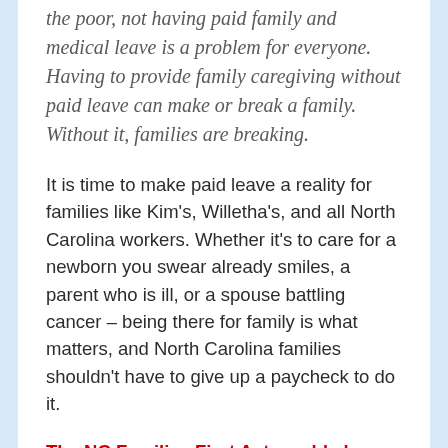the poor, not having paid family and medical leave is a problem for everyone. Having to provide family caregiving without paid leave can make or break a family. Without it, families are breaking.
It is time to make paid leave a reality for families like Kim's, Willetha's, and all North Carolina workers. Whether it's to care for a newborn you swear already smiles, a parent who is ill, or a spouse battling cancer – being there for family is what matters, and North Carolina families shouldn't have to give up a paycheck to do it.
The NC Families First Act would change the lives of North Carolinians across the